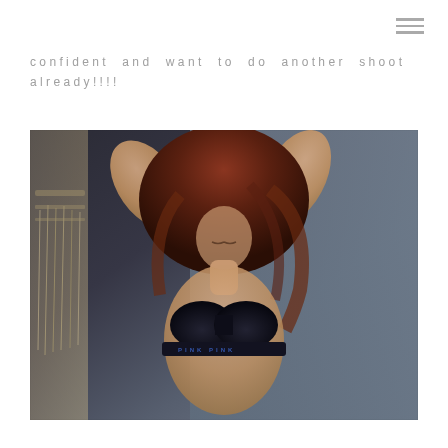confident and want to do another shoot already!!!!
[Figure (photo): A woman with long reddish-brown hair, hands raised to her head, wearing a black PINK branded bra, photographed in a boudoir style against a muted blue-grey wall with macrame hanging on the left.]